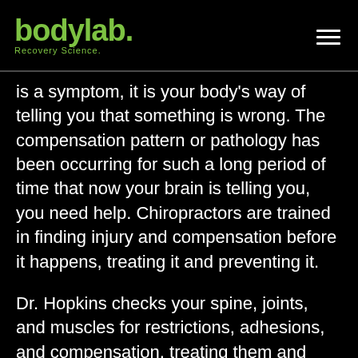bodylab. Recovery Science.
is a symptom, it is your body's way of telling you that something is wrong. The compensation pattern or pathology has been occurring for such a long period of time that now your brain is telling you, you need help. Chiropractors are trained in finding injury and compensation before it happens, treating it and preventing it.
Dr. Hopkins checks your spine, joints, and muscles for restrictions, adhesions, and compensation, treating them and preventing injury. She uses several techniques to create new motor patterns in your body changing your